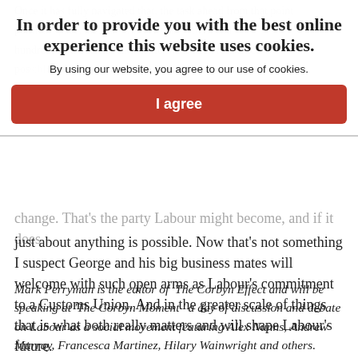In order to provide you with the best online experience this website uses cookies.
By using our website, you agree to our use of cookies.
I agree
change. That's the party Labour might become, and if it does just about anything is possible. Now that's not something I suspect George and his big business mates will welcome with such open arms as Labour's commitment to a Customs Union. And in the greater scale of things that is what both really matters and will shape Labour's future.
Mark Perryman is the editor of The Corbyn Effect and will be speaking at 'The Corbyn Moment ' a day of discussion and debate on Labour as a social movement featuring Alex Nunns, Andrew Murray, Francesca Martinez, Hilary Wainwright and others. Saturday 10 March, London. Organised by Counterfire